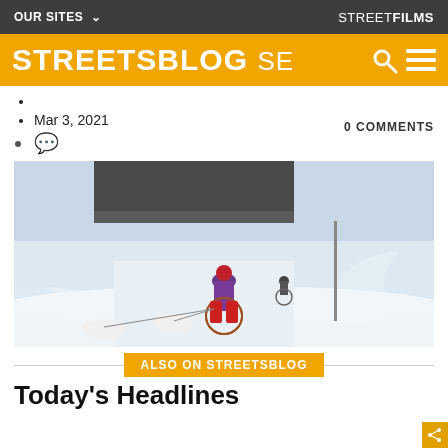OUR SITES ▾   STREETFILMS
STREETSBLOG SE
Mar 3, 2021
💬  0 COMMENTS
[Figure (photo): Person in purple jacket riding a bicycle in snowy conditions, pulling two white dogs on leashes, with another cyclist behind, under a bridge overpass surrounded by snow banks.]
ALSO ON STREETSBLOG
Today's Headlines